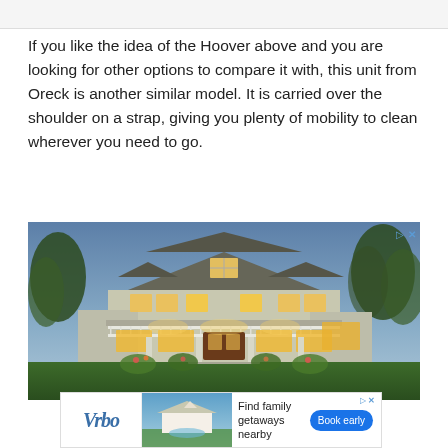If you like the idea of the Hoover above and you are looking for other options to compare it with, this unit from Oreck is another similar model. It is carried over the shoulder on a strap, giving you plenty of mobility to clean wherever you need to go.
[Figure (photo): Exterior photo of a large two-story craftsman-style house at dusk with warm interior lighting glowing through windows, white railings on a balcony and porch, stone accents, lush landscaping, and trees in the background under a blue twilight sky.]
[Figure (infographic): Vrbo advertisement banner showing the Vrbo logo in italic serif font, a small photo of a resort/getaway property, text reading 'Find family getaways nearby', and a blue 'Book early' button. Small ad markers (play icon and X) in top right corner.]